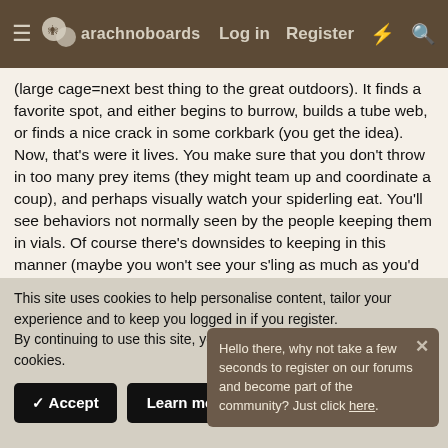arachnoboards — Log in  Register
(large cage=next best thing to the great outdoors). It finds a favorite spot, and either begins to burrow, builds a tube web, or finds a nice crack in some corkbark (you get the idea). Now, that's were it lives. You make sure that you don't throw in too many prey items (they might team up and coordinate a coup), and perhaps visually watch your spiderling eat. You'll see behaviors not normally seen by the people keeping them in vials. Of course there's downsides to keeping in this manner (maybe you won't see your s'ling as much as you'd like). Take the right precautions, it's should thrive and be well.
Hey, I keep my s[piderlings this way and I wouldn't have it any other way! you think about [how the enclosure can look] well lived-in whe[n the spiderling gathers bits of the] environment to camo up it's webbing. Or how the tube web of
Hello there, why not take a few seconds to register on our forums and become part of the community? Just click here.
This site uses cookies to help personalise content, tailor your experience and to keep you logged in if you register.
By continuing to use this site, you are consenting to our use of cookies.
✓ Accept    Learn more...